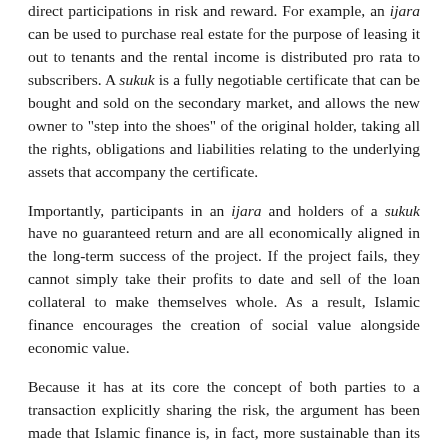direct participations in risk and reward. For example, an ijara can be used to purchase real estate for the purpose of leasing it out to tenants and the rental income is distributed pro rata to subscribers. A sukuk is a fully negotiable certificate that can be bought and sold on the secondary market, and allows the new owner to "step into the shoes" of the original holder, taking all the rights, obligations and liabilities relating to the underlying assets that accompany the certificate.
Importantly, participants in an ijara and holders of a sukuk have no guaranteed return and are all economically aligned in the long-term success of the project. If the project fails, they cannot simply take their profits to date and sell of the loan collateral to make themselves whole. As a result, Islamic finance encourages the creation of social value alongside economic value.
Because it has at its core the concept of both parties to a transaction explicitly sharing the risk, the argument has been made that Islamic finance is, in fact, more sustainable than its western counterpart. And as questions still remain over whether the banks that were pushed to the brink during the recent financial crisis, have actually changed their ways and become more responsible in their investment activities, the continued growth of Islamic finance demonstrates the growing acceptance in the market of radically different approaches.
To be continued...